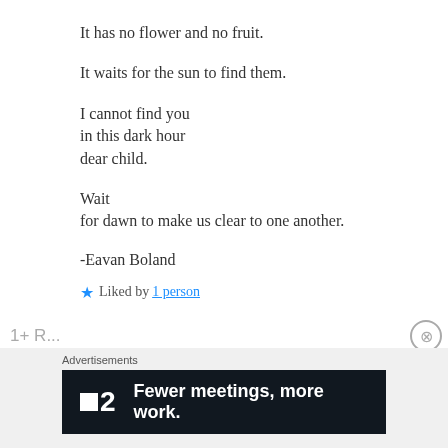It has no flower and no fruit.
It waits for the sun to find them.
I cannot find you
in this dark hour
dear child.
Wait
for dawn to make us clear to one another.
-Eavan Boland
★ Liked by 1 person
Advertisements
[Figure (screenshot): Advertisement banner: Plan logo with '2' and text 'Fewer meetings, more work.' on dark background]